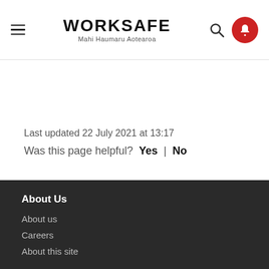WORKSAFE Mahi Haumaru Aotearoa
Last updated 22 July 2021 at 13:17
Was this page helpful? Yes | No
About Us
About us
Careers
About this site